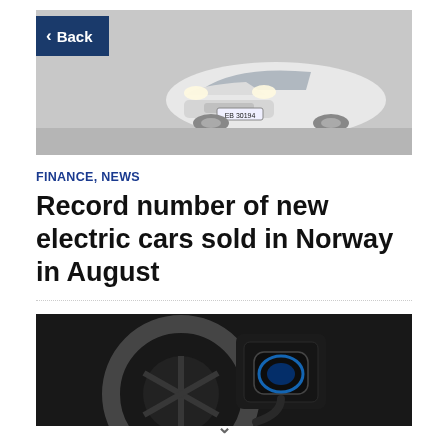[Figure (photo): Front view of a white Tesla electric car with Norwegian license plate EB 30194, photographed in winter conditions]
Back
FINANCE, NEWS
Record number of new electric cars sold in Norway in August
[Figure (photo): Close-up of an electric vehicle charging port with a blue-lit charging connector plugged in, with a wheel visible in the background]